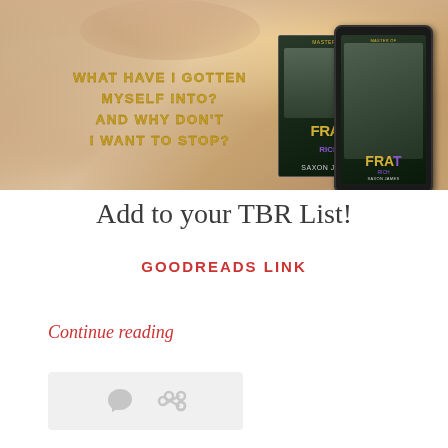[Figure (illustration): Book promotional banner image showing a shirtless male figure with bokeh background, text quote 'WHAT HAVE I GOTTEN MYSELF INTO? AND WHY DON'T I WANT TO STOP?' in bold uppercase, and two book cover images of 'Master of FRAT' by Saxon James - one standalone and one on a tablet device.]
Add to your TBR List!
GOODREADS LINK
Continue reading
[Figure (other): Action bar with comment bubble icon and link/chain icon, light gray background]